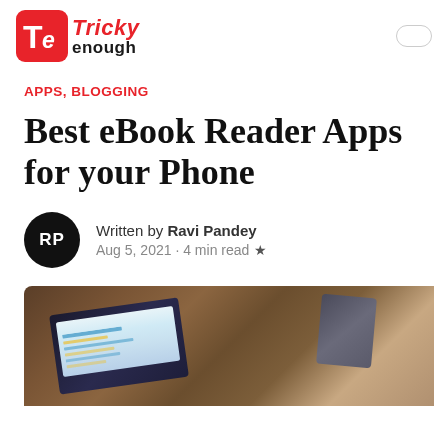[Figure (logo): Tricky Enough logo: red square with 'Te' letters in white, followed by bold text 'Tricky' in red italic and 'enough' in black]
APPS, BLOGGING
Best eBook Reader Apps for your Phone
Written by Ravi Pandey
Aug 5, 2021 · 4 min read ★
[Figure (photo): Photo of a laptop on a couch/cushioned surface with a tablet device beside it, warm brown tones]